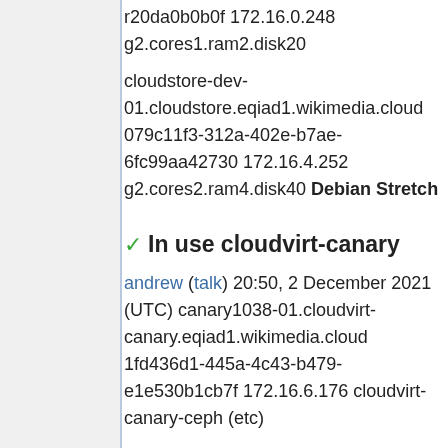r20da0b0b0f 172.16.0.248 g2.cores1.ram2.disk20
cloudstore-dev-01.cloudstore.eqiad1.wikimedia.cloud 079c11f3-312a-402e-b7ae-6fc99aa42730 172.16.4.252 g2.cores2.ram4.disk40 Debian Stretch
✓ In use cloudvirt-canary
andrew (talk) 20:50, 2 December 2021 (UTC) canary1038-01.cloudvirt-canary.eqiad1.wikimedia.cloud 1fd436d1-445a-4c43-b479-e1e530b1cb7f 172.16.6.176 cloudvirt-canary-ceph (etc)
✓ In use codereview
This project contains Stret…
https://wikitech.wikimedia…